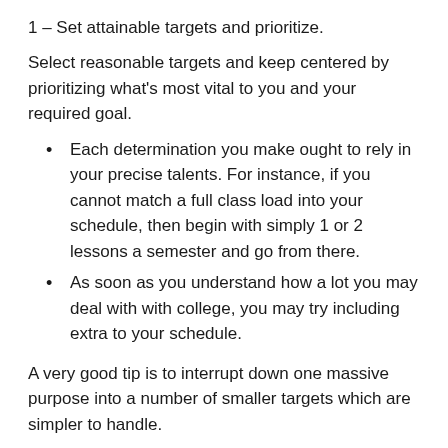1 – Set attainable targets and prioritize.
Select reasonable targets and keep centered by prioritizing what's most vital to you and your required goal.
Each determination you make ought to rely in your precise talents. For instance, if you cannot match a full class load into your schedule, then begin with simply 1 or 2 lessons a semester and go from there.
As soon as you understand how a lot you may deal with with college, you may try including extra to your schedule.
A very good tip is to interrupt down one massive purpose into a number of smaller targets which are simpler to handle.
First, write out targets.